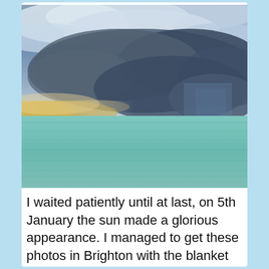[Figure (photo): Seascape photograph showing a dramatic cloudy sky over a calm turquoise sea. Dark storm clouds dominate the upper portion with a warm yellowish glow on the left horizon where sunlight breaks through. The sea below is a green-blue color with gentle ripples.]
I waited patiently until at last, on 5th January the sun made a glorious appearance. I managed to get these photos in Brighton with the blanket